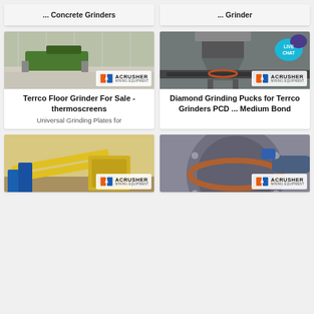[Figure (photo): Top-left card: text label '... Concrete Grinders' on gray background]
[Figure (photo): Top-right card: text label '... Grinder' on gray background]
[Figure (photo): Middle-left card image: industrial factory floor with green machinery, Acrusher Mining Equipment logo watermark]
Terrco Floor Grinder For Sale - thermoscreens
Universal Grinding Plates for
[Figure (photo): Middle-right card image: gray cone crusher/grinding machine, LIVE CHAT bubble, Acrusher Mining Equipment logo watermark]
Diamond Grinding Pucks for Terrco Grinders PCD ... Medium Bond
[Figure (photo): Bottom-left card image: outdoor quarry equipment with yellow conveyors, Acrusher Mining Equipment logo]
[Figure (photo): Bottom-right card image: industrial mill/grinding machine close-up, Acrusher Mining Equipment logo]